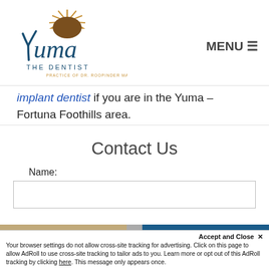[Figure (logo): Yuma The Dentist logo — cursive Yuma text with stylized sun and rays above, 'THE DENTIST' below, 'PRACTICE OF DR. ROOPINDER MANN' in small text]
MENU ☰
implant dentist if you are in the Yuma – Fortuna Foothills area.
Contact Us
Name:
Accept and Close ✕
Your browser settings do not allow cross-site tracking for advertising. Click on this page to allow AdRoll to use cross-site tracking to tailor ads to you. Learn more or opt out of this AdRoll tracking by clicking here. This message only appears once.